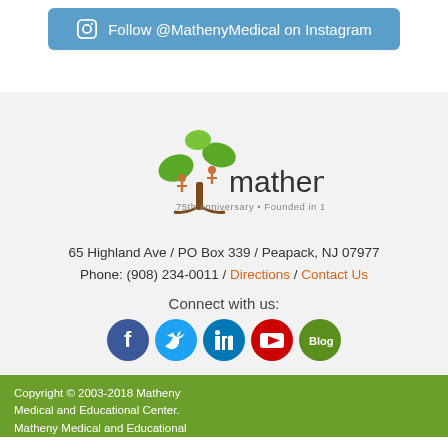[Figure (other): Blue button with Instagram icon: Follow @MathenyMedical on Instagram]
[Figure (logo): Matheny logo with tree graphic and text '75th anniversary • Founded in 1946']
65 Highland Ave / PO Box 339 / Peapack, NJ 07977
Phone: (908) 234-0011 / Directions / Contact Us
Connect with us:
[Figure (other): Social media icons: Facebook, Twitter, LinkedIn, YouTube, Blog]
Copyright © 2003-2018 Matheny Medical and Educational Center. Matheny Medical and Educational